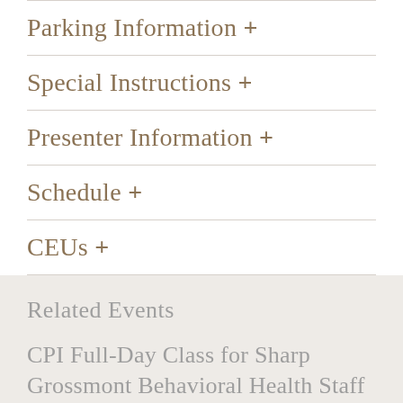Parking Information +
Special Instructions +
Presenter Information +
Schedule +
CEUs +
Related Events
CPI Full-Day Class for Sharp Grossmont Behavioral Health Staff
Free